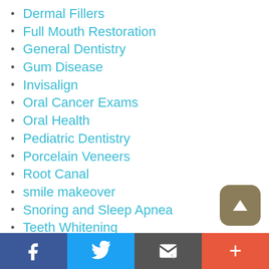Dermal Fillers
Full Mouth Restoration
General Dentistry
Gum Disease
Invisalign
Oral Cancer Exams
Oral Health
Pediatric Dentistry
Porcelain Veneers
Root Canal
smile makeover
Snoring and Sleep Apnea
Teeth Whitening
TMJ disorder
Tooth Extractions
Uncategorized
Facebook | Twitter | Email | +